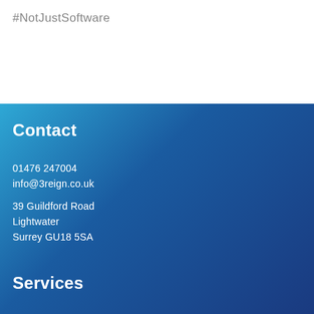#NotJustSoftware
Contact
01476 247004
info@3reign.co.uk
39 Guildford Road
Lightwater
Surrey GU18 5SA
Services